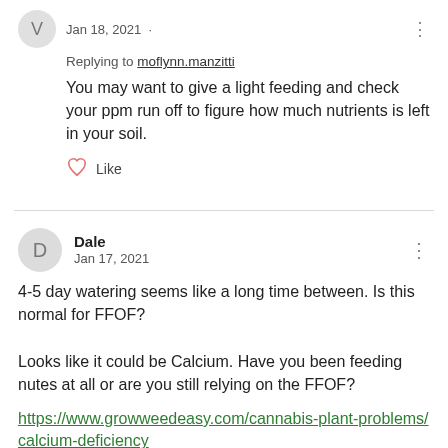Jan 18, 2021 ·
Replying to moflynn.manzitti
You may want to give a light feeding and check your ppm run off to figure how much nutrients is left in your soil.
Like
Dale
Jan 17, 2021
4-5 day watering seems like a long time between. Is this normal for FFOF?

Looks like it could be Calcium. Have you been feeding nutes at all or are you still relying on the FFOF?
https://www.growweedeasy.com/cannabis-plant-problems/calcium-deficiency